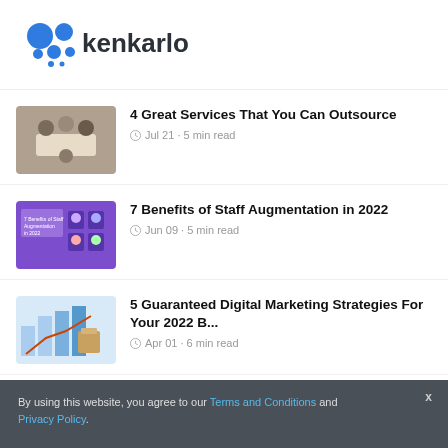[Figure (logo): Kenkarlo logo with blue hexagon-like icon and 'kenkarlo' text in dark gray]
4 Great Services That You Can Outsource · Jul 21 · 5 min read
7 Benefits of Staff Augmentation in 2022 · Jun 09 · 5 min read
5 Guaranteed Digital Marketing Strategies For Your 2022 B... · Apr 01 · 6 min read
By using this website, you agree to our Terms and Conditions and Privacy Policy.